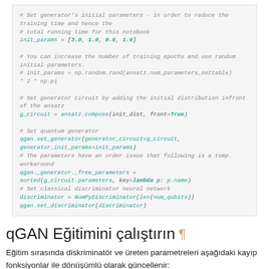[Figure (screenshot): Code block showing Python code for setting generator initial parameters, generator circuit, quantum generator, discriminator neural network setup using qgan and related parameters.]
qGAN Eğitimini çalıştırın ¶
Eğitim sırasında diskriminatör ve üreten parametreleri aşağıdaki kayıp fonksiyonlar ile dönüşümlü olarak güncellenir: